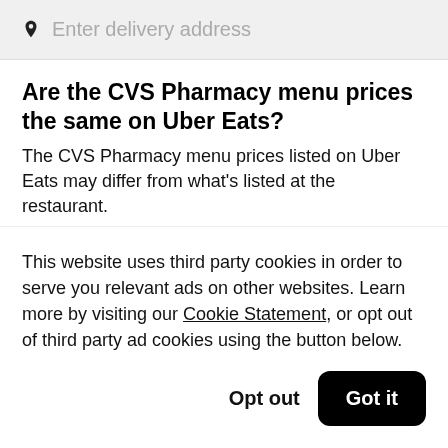Enter delivery address
Are the CVS Pharmacy menu prices the same on Uber Eats?
The CVS Pharmacy menu prices listed on Uber Eats may differ from what's listed at the restaurant.
When can I order CVS Pharmacy in Salt Lake
This website uses third party cookies in order to serve you relevant ads on other websites. Learn more by visiting our Cookie Statement, or opt out of third party ad cookies using the button below.